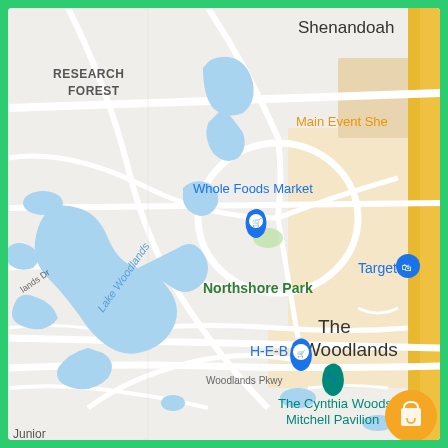[Figure (map): Google Maps screenshot showing The Woodlands, Texas area with Lake Woodlands, Northshore Park, Whole Foods Market, H-E-B, Target, The Cynthia Woods Mitchell Pavilion, Shenandoah, Research Forest, and Woodlands Pkwy labeled. Blue water bodies, yellow roads, and map pins visible. Orange 'Main Event She...' label at top right. Green app border frame.]